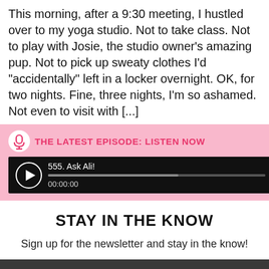This morning, after a 9:30 meeting, I hustled over to my yoga studio. Not to take class. Not to play with Josie, the studio owner's amazing pup. Not to pick up sweaty clothes I'd "accidentally" left in a locker overnight. OK, for two nights. Fine, three nights, I'm so ashamed. Not even to visit with [...]
[Figure (other): Pink banner with microphone icon and text 'THE LATEST EPISODE: LISTEN NOW', plus an audio player bar showing episode '555. Ask Ali!' with a progress bar and timestamp 00:00:00]
STAY IN THE KNOW
Sign up for the newsletter and stay in the know!
This website uses cookies to ensure you get the best experience on our website.